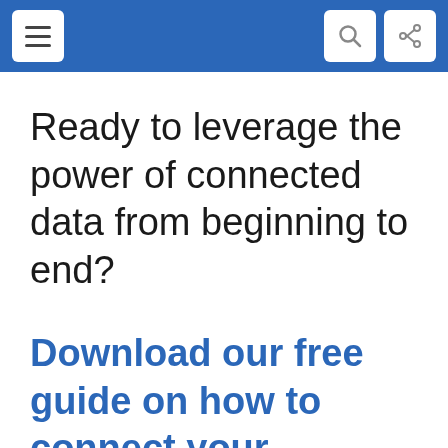Navigation bar with menu, search, and share icons
Ready to leverage the power of connected data from beginning to end?
Download our free guide on how to connect your